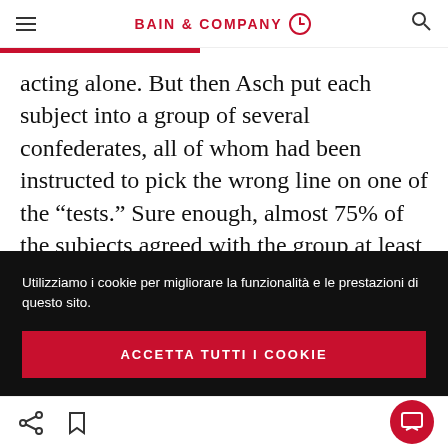BAIN & COMPANY
acting alone. But then Asch put each subject into a group of several confederates, all of whom had been instructed to pick the wrong line on one of the “tests.” Sure enough, almost 75% of the subjects agreed with the group at least once—even though many later confessed they knew the group’s answer was wrong (see Figure 1).
Utilizziamo i cookie per migliorare la funzionalità e le prestazioni di questo sito.
ACCETTA TUTTI I COOKIE